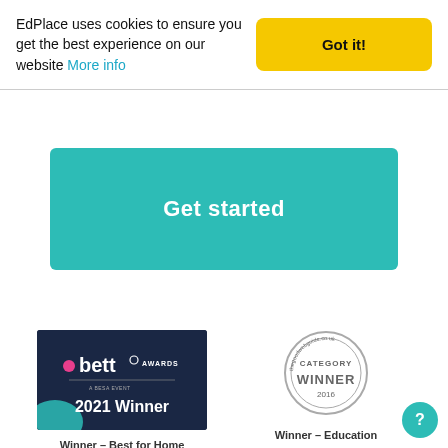EdPlace uses cookies to ensure you get the best experience on our website More info
Get started
[Figure (logo): Bett Awards 2021 Winner badge on dark navy background with teal decorative element]
Winner - Best for Home Learning / Parents
[Figure (logo): The Good Web Guide Category Winner 2016 circular stamp badge]
Winner - Education